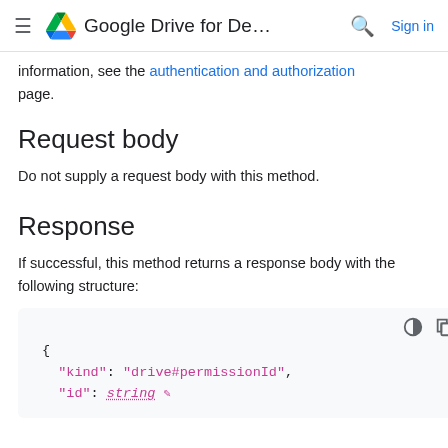≡ Google Drive for De... 🔍 Sign in
information, see the authentication and authorization page.
Request body
Do not supply a request body with this method.
Response
If successful, this method returns a response body with the following structure:
{
  "kind": "drive#permissionId",
  "id": string